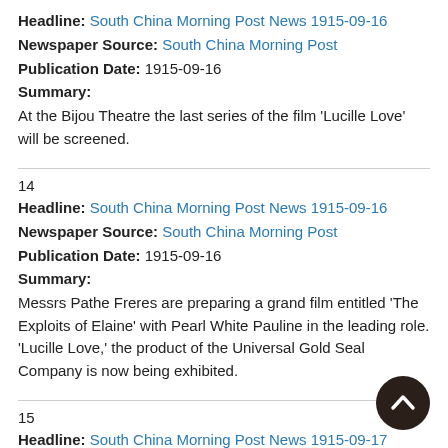Headline: South China Morning Post News 1915-09-16
Newspaper Source: South China Morning Post
Publication Date: 1915-09-16
Summary:
At the Bijou Theatre the last series of the film 'Lucille Love' will be screened.
14
Headline: South China Morning Post News 1915-09-16
Newspaper Source: South China Morning Post
Publication Date: 1915-09-16
Summary:
Messrs Pathe Freres are preparing a grand film entitled 'The Exploits of Elaine' with Pearl White Pauline in the leading role. 'Lucille Love,' the product of the Universal Gold Seal Company is now being exhibited.
15
Headline: South China Morning Post News 1915-09-17
Newspaper Source: South China Morning Post
Publication Date: 1915-09-17